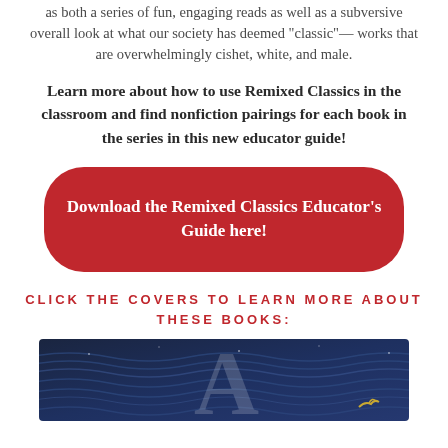as both a series of fun, engaging reads as well as a subversive overall look at what our society has deemed “classic”— works that are overwhelmingly cishet, white, and male.
Learn more about how to use Remixed Classics in the classroom and find nonfiction pairings for each book in the series in this new educator guide!
Download the Remixed Classics Educator’s Guide here!
CLICK THE COVERS TO LEARN MORE ABOUT THESE BOOKS:
[Figure (illustration): Partial view of a book cover with dark blue wave/ocean patterns and a large letter A visible, with a small bird at the bottom right.]